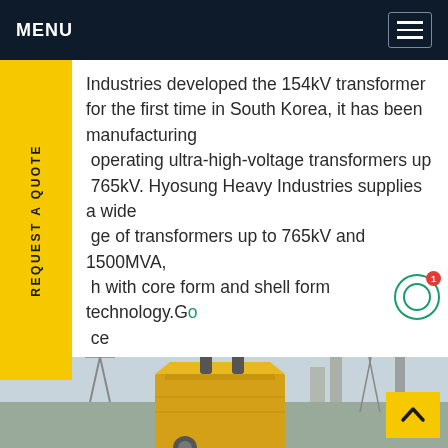MENU
Industries developed the 154kV transformer for the first time in South Korea, it has been manufacturing operating ultra-high-voltage transformers up 765kV. Hyosung Heavy Industries supplies a wide ge of transformers up to 765kV and 1500MVA, h with core form and shell form technology.Go ce
[Figure (photo): Photograph of a large high-voltage power transformer installed at an outdoor electrical substation, with overhead transmission line structures visible in the background.]